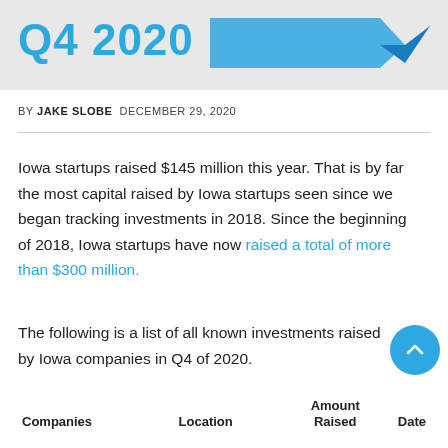[Figure (infographic): Banner with 'Q4 2020' text in blue and a blue speech bubble/arrow shape on grey background]
BY JAKE SLOBE  DECEMBER 29, 2020
Iowa startups raised $145 million this year. That is by far the most capital raised by Iowa startups seen since we began tracking investments in 2018. Since the beginning of 2018, Iowa startups have now raised a total of more than $300 million.
The following is a list of all known investments raised by Iowa companies in Q4 of 2020.
| Companies | Location | Amount Raised | Date |
| --- | --- | --- | --- |